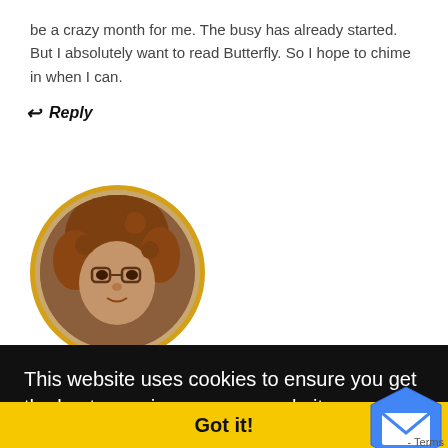be a crazy month for me. The busy has already started. But I absolutely want to read Butterfly. So I hope to chime in when I can.
↩ Reply
[Figure (photo): Circular avatar photo of Rachel Kabindi with curly red-brown hair, bordered in gold/yellow circle]
Rachel Kabindi   July 1, 2021
. I hope
This website uses cookies to ensure you get the best experience on our website. Learn more
Got it!
WHAT DO YOU THINK?